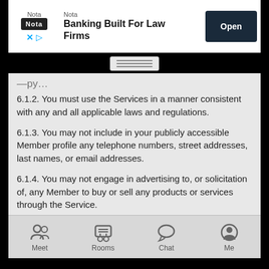[Figure (screenshot): Advertisement banner for Nota - Banking Built For Law Firms with Open button]
6.1.2. You must use the Services in a manner consistent with any and all applicable laws and regulations.
6.1.3. You may not include in your publicly accessible Member profile any telephone numbers, street addresses, last names, or email addresses.
6.1.4. You may not engage in advertising to, or solicitation of, any Member to buy or sell any products or services through the Service.
6.1.5. You may not use any information obtained from the Services in order to harass, abuse, or harm another person, or in order to contact, advertise to, solicit, or sell to any Member without their prior explicit consent.
6.1.6. You may not attempt to impersonate another user or person who is not a member of Moco.
[Figure (screenshot): Mobile app bottom navigation bar with Meet, Rooms, Chat, Me icons]